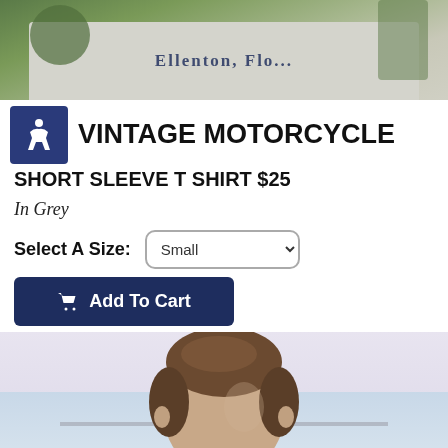[Figure (photo): Top portion of a photo showing a person wearing a grey t-shirt with 'Ellenton, Flo...' text, outdoors with green foliage in background]
VINTAGE MOTORCYCLE
SHORT SLEEVE T SHIRT $25
In Grey
Select A Size: Small
Add To Cart
[Figure (photo): Photo of a young man from behind showing his haircut, with water and a bridge visible in the background]